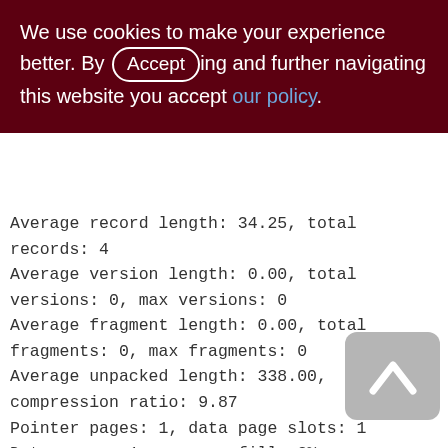We use cookies to make your experience better. By accepting and further navigating this website you accept our policy.
Average record length: 34.25, total records: 4
Average version length: 0.00, total versions: 0, max versions: 0
Average fragment length: 0.00, total fragments: 0, max fragments: 0
Average unpacked length: 338.00, compression ratio: 9.87
Pointer pages: 1, data page slots: 1
Data pages: 1, average fill: 3%
Primary pages: 1, secondary pages: 0, swept pages: 1
Empty pages: 0, full pages: 0